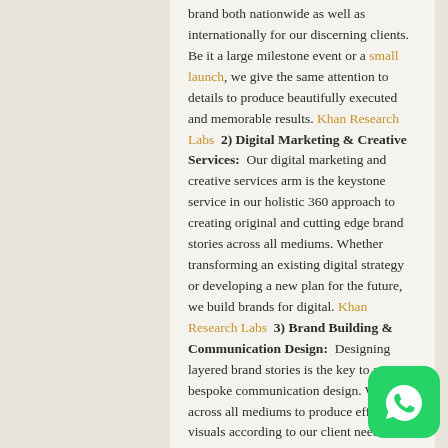...brand both nationwide as well as internationally for our discerning clients. Be it a large milestone event or a small launch, we give the same attention to details to produce beautifully executed and memorable results. Khan Research Labs  2) Digital Marketing & Creative Services:  Our digital marketing and creative services arm is the keystone service in our holistic 360 approach to creating original and cutting edge brand stories across all mediums. Whether transforming an existing digital strategy or developing a new plan for the future, we build brands for digital. Khan Research Labs  3) Brand Building & Communication Design:  Designing layered brand stories is the key to any bespoke communication design. We work across all mediums to produce effective visuals according to our client needs to create an invaluable tailor-made language for each roll out. Khan
[Figure (illustration): WhatsApp icon button - green rounded square with white phone handset inside speech bubble]